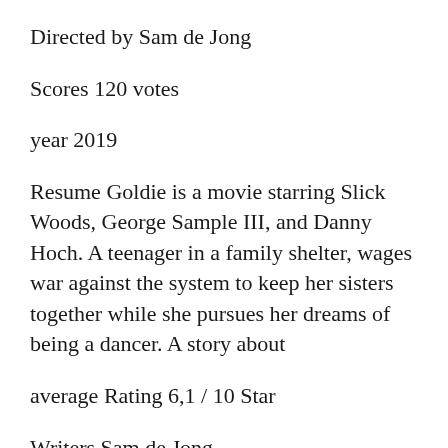Directed by Sam de Jong
Scores 120 votes
year 2019
Resume Goldie is a movie starring Slick Woods, George Sample III, and Danny Hoch. A teenager in a family shelter, wages war against the system to keep her sisters together while she pursues her dreams of being a dancer. A story about
average Rating 6,1 / 10 Star
Writers Sam de Jong
Goldie hawn kate hudson ellen.